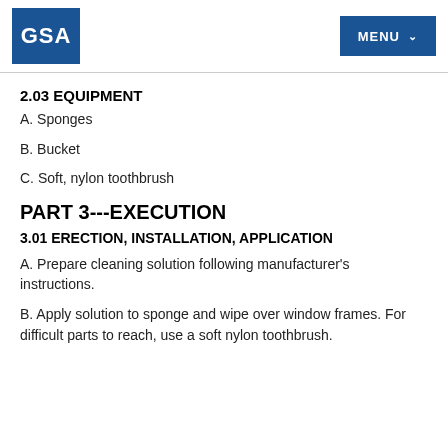GSA | MENU
2.03 EQUIPMENT
A. Sponges
B. Bucket
C. Soft, nylon toothbrush
PART 3---EXECUTION
3.01 ERECTION, INSTALLATION, APPLICATION
A. Prepare cleaning solution following manufacturer's instructions.
B. Apply solution to sponge and wipe over window frames. For difficult parts to reach, use a soft nylon toothbrush.